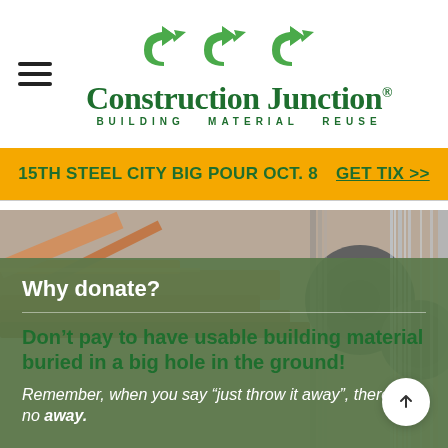[Figure (logo): Construction Junction logo with green recycling arrows above text reading 'Construction Junction' and subtitle 'BUILDING MATERIAL REUSE']
15TH STEEL CITY BIG POUR OCT. 8  GET TIX >>
[Figure (photo): Close-up photo of construction materials including lumber, metal, and other building materials]
Why donate?
Don't pay to have usable building material buried in a big hole in the ground!
Remember, when you say “just throw it away”, there is no away.